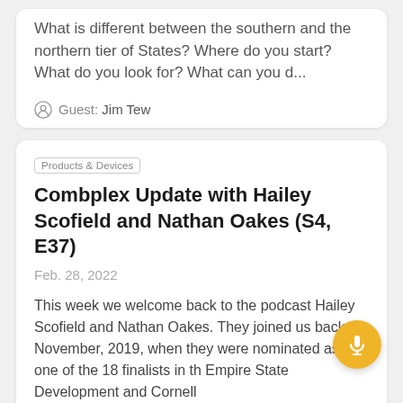What is different between the southern and the northern tier of States? Where do you start? What do you look for? What can you d...
Guest: Jim Tew
Products & Devices
Combplex Update with Hailey Scofield and Nathan Oakes (S4, E37)
Feb. 28, 2022
This week we welcome back to the podcast Hailey Scofield and Nathan Oakes. They joined us back in November, 2019, when they were nominated as the one of the 18 finalists in the Empire State Development and Cornell